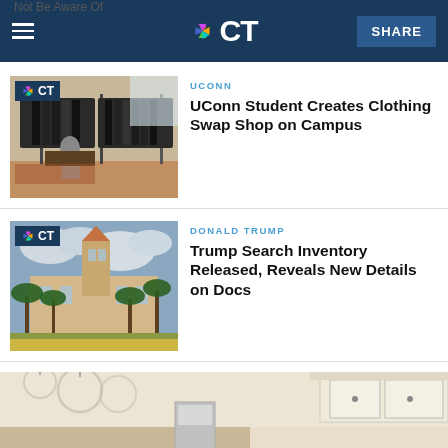NBC CT — SHARE
Not Be Aware Of
[Figure (photo): Interior of a clothing swap shop with racks of dark jackets and a person browsing, NBC CT logo badge in top left corner]
UCONN
UConn Student Creates Clothing Swap Shop on Campus
[Figure (photo): Exterior of Mar-a-Lago estate with palm trees and cloudy sky, NBC CT logo badge in top left corner]
DONALD TRUMP
Trump Search Inventory Released, Reveals New Details on Docs
[Figure (photo): Partial view of a kitchen interior with white cabinets and glass pendant lights]